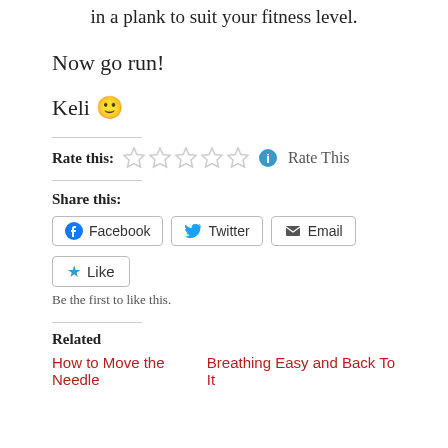in a plank to suit your fitness level.
Now go run!
Keli 🙂
Rate this: ☆☆☆☆☆ ℹ Rate This
Share this:
Facebook  Twitter  Email
Like
Be the first to like this.
Related
How to Move the Needle    Breathing Easy and Back To It